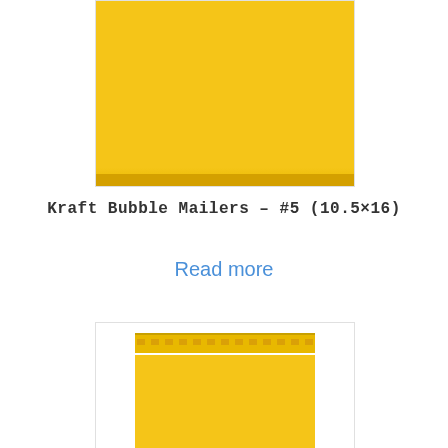[Figure (photo): Yellow kraft bubble mailer envelope, viewed from front, mostly solid yellow color with slight bottom seal detail]
Kraft Bubble Mailers – #5 (10.5×16)
Read more
[Figure (photo): Yellow kraft bubble mailer envelope showing the top peel-and-seal adhesive strip area with tape liner detail above the yellow envelope body]